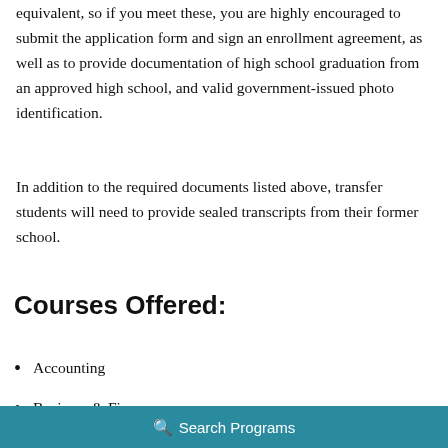equivalent, so if you meet these, you are highly encouraged to submit the application form and sign an enrollment agreement, as well as to provide documentation of high school graduation from an approved high school, and valid government-issued photo identification.
In addition to the required documents listed above, transfer students will need to provide sealed transcripts from their former school.
Courses Offered:
Accounting
Business & Finance
Search Programs